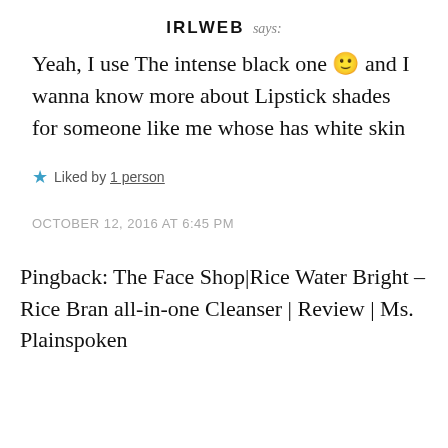IRLWEB says:
Yeah, I use The intense black one 🙂 and I wanna know more about Lipstick shades for someone like me whose has white skin
Liked by 1 person
OCTOBER 12, 2016 AT 6:45 PM
Pingback: The Face Shop|Rice Water Bright – Rice Bran all-in-one Cleanser | Review | Ms. Plainspoken